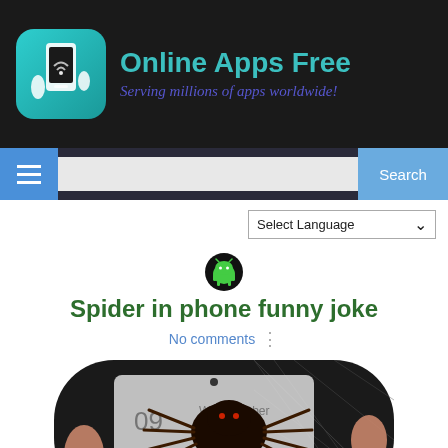[Figure (logo): Online Apps Free website header with teal rounded-square logo (hand holding phone), site title 'Online Apps Free' in teal, tagline 'Serving millions of apps worldwide!' in dark blue italic cursive]
[Figure (screenshot): Navigation bar with blue hamburger menu button, search input field, and blue Search button]
[Figure (screenshot): Select Language dropdown selector]
[Figure (logo): Small green Android robot icon]
Spider in phone funny joke
No comments
[Figure (photo): A large dark spider (possibly a widow spider) sitting on top of a smartphone screen, being held by fingers. The phone screen shows a date around October 09. Background shows a wire mesh/fence.]